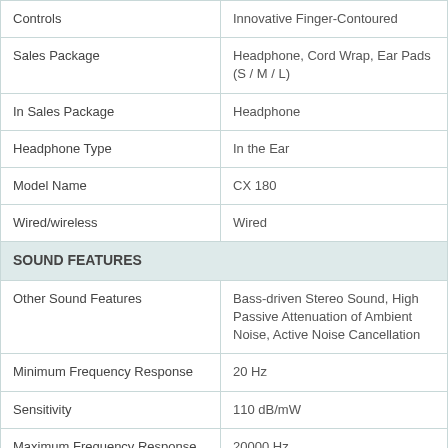| Feature | Value |
| --- | --- |
| Controls | Innovative Finger-Contoured |
| Sales Package | Headphone, Cord Wrap, Ear Pads (S / M / L) |
| In Sales Package | Headphone |
| Headphone Type | In the Ear |
| Model Name | CX 180 |
| Wired/wireless | Wired |
| SOUND FEATURES |  |
| Other Sound Features | Bass-driven Stereo Sound, High Passive Attenuation of Ambient Noise, Active Noise Cancellation |
| Minimum Frequency Response | 20 Hz |
| Sensitivity | 110 dB/mW |
| Maximum Frequency Response | 20000 Hz |
| Impedance | 16 ohm |